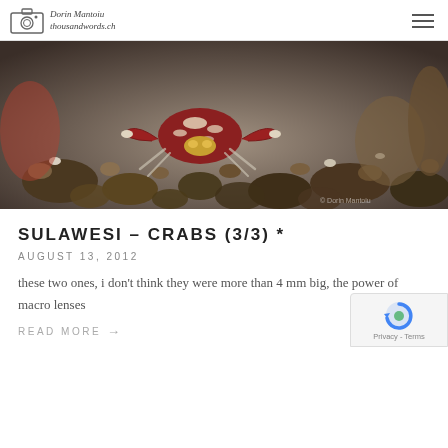Dorin Mantoiu thousandwords.ch
[Figure (photo): Close-up macro photograph of a small red and white patterned crab sitting on dark rocky substrate, likely aquarium gravel. The crab has distinctive red and white coloration on its shell and transparent legs.]
SULAWESI – CRABS (3/3) *
AUGUST 13, 2012
these two ones, i don't think they were more than 4 mm big, the power of macro lenses
READ MORE →